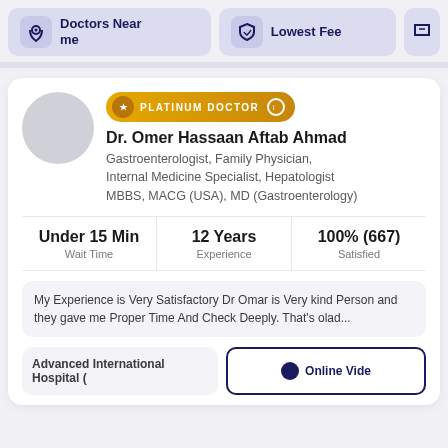[Figure (screenshot): Navigation buttons: Doctors Near me (with location pin icon), Lowest Fee (with shield icon), and a partially visible third button]
PLATINUM DOCTOR
Dr. Omer Hassaan Aftab Ahmad
Gastroenterologist, Family Physician, Internal Medicine Specialist, Hepatologist
MBBS, MACG (USA), MD (Gastroenterology)
Under 15 Min
Wait Time
12 Years
Experience
100% (667)
Satisfied
My Experience is Very Satisfactory Dr Omar is Very kind Person and they gave me Proper Time And Check Deeply. That's olad...
Advanced International Hospital (
Online Vide